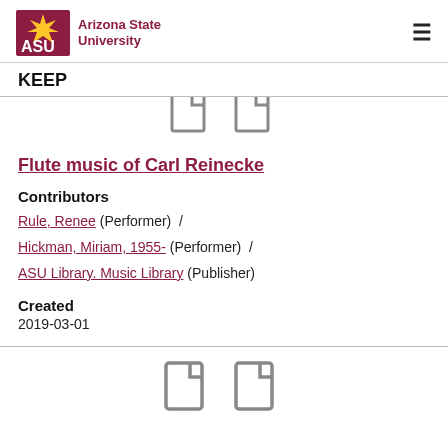ASU Arizona State University
KEEP
[Figure (illustration): Two document/file icons side by side (top, partial, cropped)]
Flute music of Carl Reinecke
Contributors
Rule, Renee (Performer) / Hickman, Miriam, 1955- (Performer) / ASU Library. Music Library (Publisher)
Created
2019-03-01
[Figure (illustration): Two document/file icons side by side (bottom section, partially visible)]